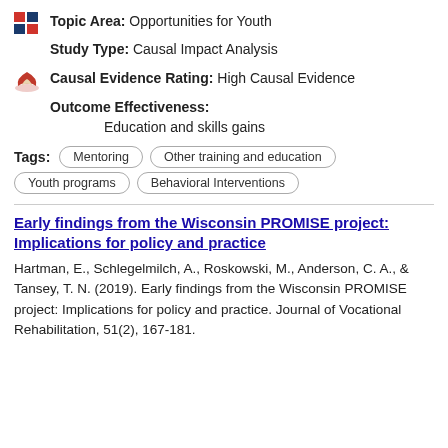Topic Area: Opportunities for Youth
Study Type: Causal Impact Analysis
Causal Evidence Rating: High Causal Evidence
Outcome Effectiveness:
Education and skills gains
Tags: Mentoring | Other training and education | Youth programs | Behavioral Interventions
Early findings from the Wisconsin PROMISE project: Implications for policy and practice
Hartman, E., Schlegelmilch, A., Roskowski, M., Anderson, C. A., & Tansey, T. N. (2019). Early findings from the Wisconsin PROMISE project: Implications for policy and practice. Journal of Vocational Rehabilitation, 51(2), 167-181.